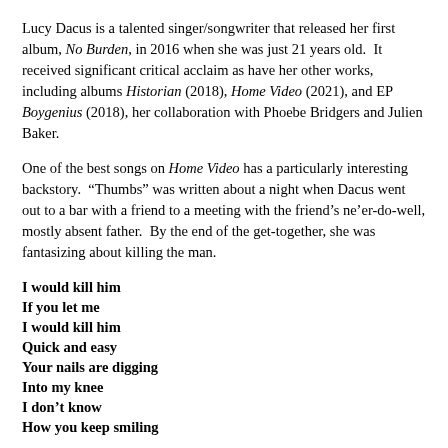Lucy Dacus is a talented singer/songwriter that released her first album, No Burden, in 2016 when she was just 21 years old.  It received significant critical acclaim as have her other works, including albums Historian (2018), Home Video (2021), and EP Boygenius (2018), her collaboration with Phoebe Bridgers and Julien Baker.
One of the best songs on Home Video has a particularly interesting backstory.  "Thumbs" was written about a night when Dacus went out to a bar with a friend to a meeting with the friend's ne'er-do-well, mostly absent father.  By the end of the get-together, she was fantasizing about killing the man.
I would kill him
If you let me
I would kill him
Quick and easy
Your nails are digging
Into my knee
I don't know
How you keep smiling